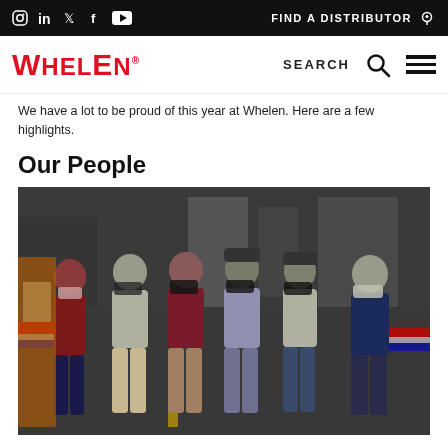Social icons: Instagram, LinkedIn, Twitter, Facebook, YouTube | FIND A DISTRIBUTOR
WHELEN | SEARCH | Menu
We have a lot to be proud of this year at Whelen. Here are a few highlights.
Our People
[Figure (photo): Group of six Whelen employees wearing face masks standing in a factory/warehouse setting with manufacturing equipment in the background.]